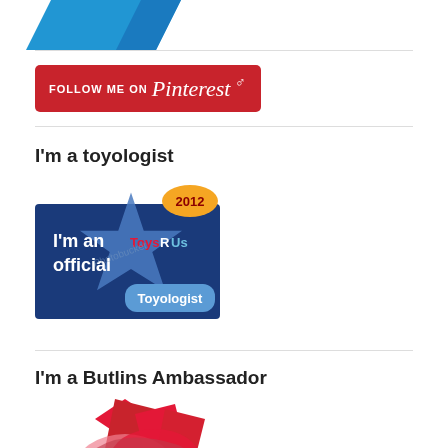[Figure (logo): Partial blue badge/button visible at top of page]
[Figure (logo): Follow Me on Pinterest red button with Pinterest script logo]
I'm a toyologist
[Figure (logo): 2012 Toys R Us official Toyologist badge with blue star and cookie monster character]
I'm a Butlins Ambassador
[Figure (logo): Butlins Ambassador badge/ribbon partially visible at bottom]